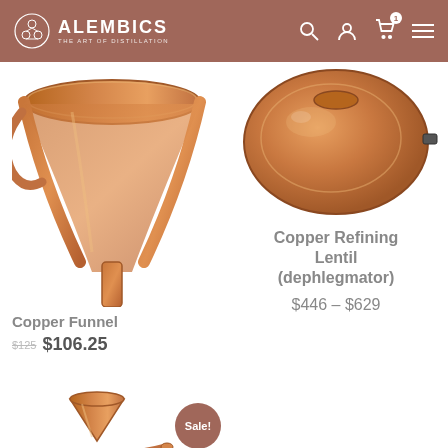ALEMBICS – THE ART OF DISTILLATION
[Figure (photo): Copper funnel product photo, cropped showing the spout and handle, copper-toned metal]
[Figure (photo): Copper Refining Lentil (dephlegmator) product photo, round copper vessel top view]
Copper Refining Lentil (dephlegmator)
$446 – $629
Copper Funnel
$125 $106.25
[Figure (photo): Copper funnel with stand/base, tall slender funnel with circular ring and angled spout on a round base, copper finish, with Sale! badge]
Sale!